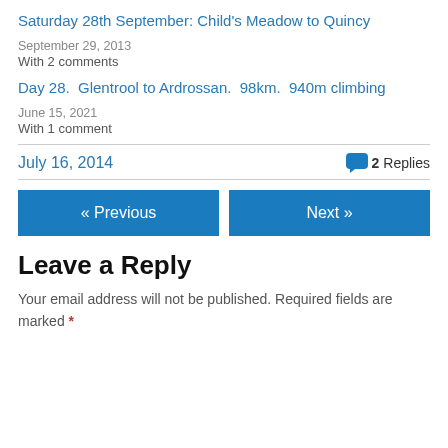Saturday 28th September: Child's Meadow to Quincy
September 29, 2013
With 2 comments
Day 28.  Glentrool to Ardrossan.  98km.  940m climbing
June 15, 2021
With 1 comment
July 16, 2014   💬 2 Replies
« Previous   Next »
Leave a Reply
Your email address will not be published. Required fields are marked *